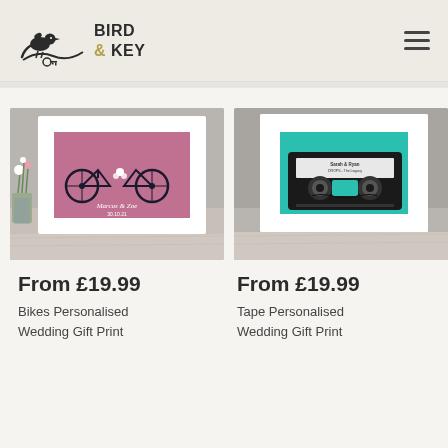Bird & Key
[Figure (photo): Framed print with two bicycles on a pink/mauve background with names and date below, displayed on a wooden surface with flowers in background]
From £19.99
Bikes Personalised Wedding Gift Print
[Figure (photo): Framed print featuring a cassette tape illustration on a teal/turquoise background, displayed on a wooden surface]
From £19.99
Tape Personalised Wedding Gift Print